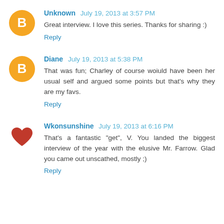Unknown July 19, 2013 at 3:57 PM
Great interview. I love this series. Thanks for sharing :)
Reply
Diane July 19, 2013 at 5:38 PM
That was fun; Charley of course woiuld have been her usual self and argued some points but that's why they are my favs.
Reply
Wkonsunshine July 19, 2013 at 6:16 PM
That's a fantastic "get", V. You landed the biggest interview of the year with the elusive Mr. Farrow. Glad you came out unscathed, mostly ;)
Reply